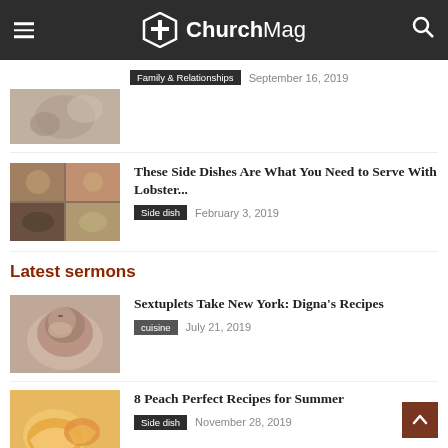ChurchMag
Family & Relationships   September 16, 2019
These Side Dishes Are What You Need to Serve With Lobster...
Side dish   February 3, 2019
Latest sermons
Sextuplets Take New York: Digna's Recipes
cuisine   July 21, 2019
8 Peach Perfect Recipes for Summer
Side dish   November 28, 2019